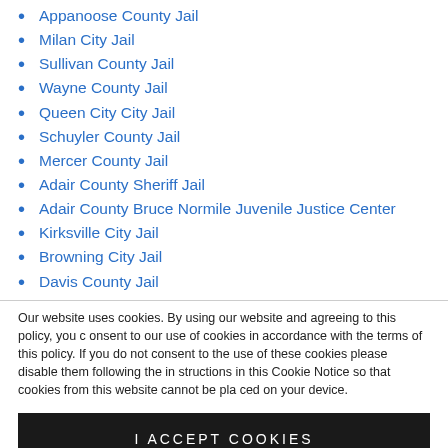Appanoose County Jail
Milan City Jail
Sullivan County Jail
Wayne County Jail
Queen City City Jail
Schuyler County Jail
Mercer County Jail
Adair County Sheriff Jail
Adair County Bruce Normile Juvenile Justice Center
Kirksville City Jail
Browning City Jail
Davis County Jail
Our website uses cookies. By using our website and agreeing to this policy, you consent to our use of cookies in accordance with the terms of this policy. If you do not consent to the use of these cookies please disable them following the instructions in this Cookie Notice so that cookies from this website cannot be placed on your device.
I ACCEPT COOKIES